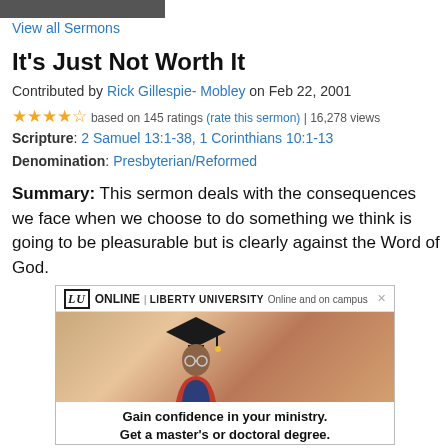View all Sermons
It's Just Not Worth It
Contributed by Rick Gillespie- Mobley on Feb 22, 2001
★★★★☆ based on 145 ratings (rate this sermon) | 16,278 views
Scripture: 2 Samuel 13:1-38, 1 Corinthians 10:1-13
Denomination: Presbyterian/Reformed
Summary: This sermon deals with the consequences we face when we choose to do something we think is going to be pleasurable but is clearly against the Word of God.
[Figure (screenshot): Liberty University Online advertisement showing a man in graduation cap and gown with text: LU ONLINE | LIBERTY UNIVERSITY Online and on campus. Gain confidence in your ministry. Get a master's or doctoral degree.]